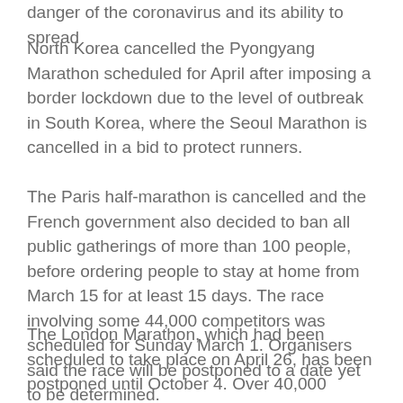danger of the coronavirus and its ability to spread
North Korea cancelled the Pyongyang Marathon scheduled for April after imposing a border lockdown due to the level of outbreak in South Korea, where the Seoul Marathon is cancelled in a bid to protect runners.
The Paris half-marathon is cancelled and the French government also decided to ban all public gatherings of more than 100 people, before ordering people to stay at home from March 15 for at least 15 days. The race involving some 44,000 competitors was scheduled for Sunday March 1. Organisers said the race will be postponed to a date yet to be determined.
The London Marathon, which had been scheduled to take place on April 26, has been postponed until October 4. Over 40,000 runners were due to take part.
The Barcelona marathon scheduled for March 15...